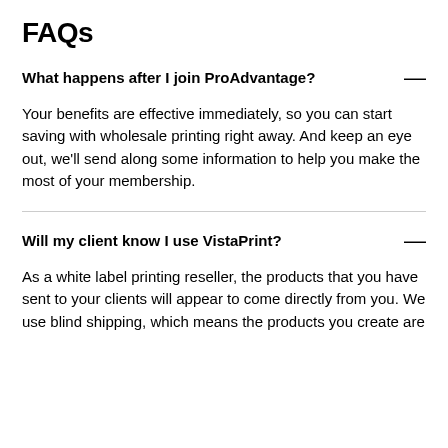FAQs
What happens after I join ProAdvantage?
Your benefits are effective immediately, so you can start saving with wholesale printing right away. And keep an eye out, we'll send along some information to help you make the most of your membership.
Will my client know I use VistaPrint?
As a white label printing reseller, the products that you have sent to your clients will appear to come directly from you. We use blind shipping, which means the products you create are